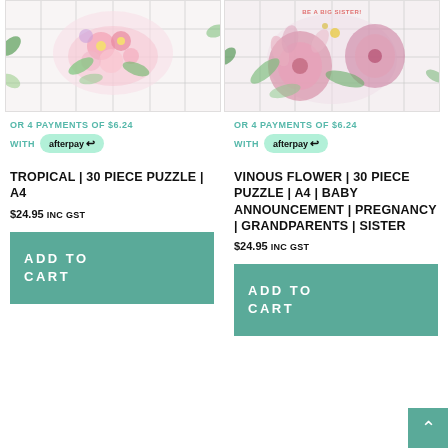[Figure (photo): Tropical floral puzzle image - watercolor pink and green flowers on white puzzle background]
OR 4 PAYMENTS OF $6.24
WITH afterpay
TROPICAL | 30 PIECE PUZZLE | A4
$24.95 INC GST
ADD TO CART
[Figure (photo): Vinous flower puzzle image - pink protea flowers with text 'BE A BIG SISTER!' on puzzle background]
OR 4 PAYMENTS OF $6.24
WITH afterpay
VINOUS FLOWER | 30 PIECE PUZZLE | A4 | BABY ANNOUNCEMENT | PREGNANCY | GRANDPARENTS | SISTER
$24.95 INC GST
ADD TO CART